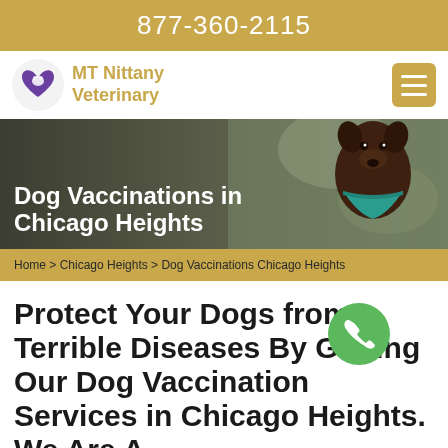877-360-2115
[Figure (logo): MT Nittany Veterinary logo with purple dog/heart icon and gold text]
[Figure (photo): Hero banner photo of a brown dog wearing a teal bandana, with overlay title 'Dog Vaccinations in Chicago Heights']
Dog Vaccinations in Chicago Heights
Home > Chicago Heights > Dog Vaccinations Chicago Heights
Protect Your Dogs from Terrible Diseases By Getting Our Dog Vaccination Services in Chicago Heights. We Are A